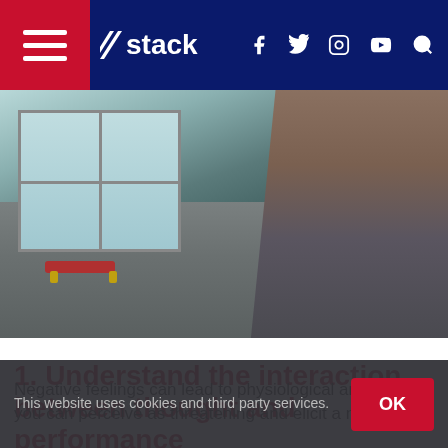stack (navigation bar with hamburger menu, social icons: f, twitter, instagram, youtube, search)
[Figure (photo): Person lifting a dumbbell in a gym with a workout bench visible on the floor and large windows in the background.]
1. Understand the interaction between thought and performance
Negative feelings can lead to physiological arousal that you can perceive as threatening and elicit a negative
This website uses cookies and third party services.